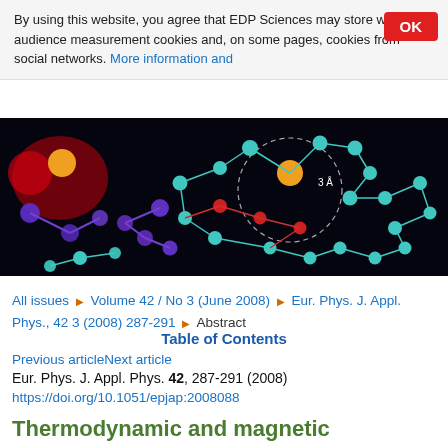By using this website, you agree that EDP Sciences may store web audience measurement cookies and, on some pages, cookies from social networks. More information and
[Figure (photo): Dark background molecular structure visualization showing cyan/teal, purple, red and orange spheres connected by lines representing atomic bonds, with dashed circle annotation labeled '3 Å']
All issues ▶ Volume 42 / No 3 (June 2008) ▶ Eur. Phys. J. Appl. Phys., 42 3 (2008) 287-291 ▶ Abstract
Table of Contents
Previous articleNext article
Eur. Phys. J. Appl. Phys. 42, 287-291 (2008)
https://doi.org/10.1051/epjap:2008088
Thermodynamic and magnetic